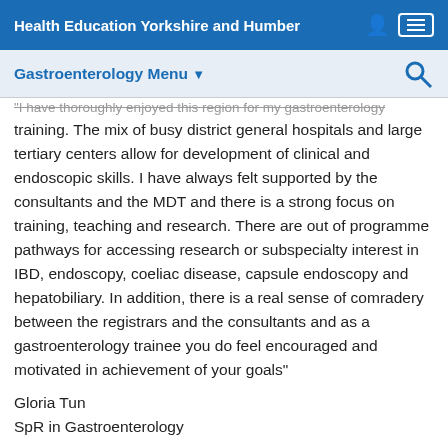Health Education Yorkshire and Humber
Gastroenterology Menu
"I have thoroughly enjoyed this region for my gastroenterology training. The mix of busy district general hospitals and large tertiary centers allow for development of clinical and endoscopic skills. I have always felt supported by the consultants and the MDT and there is a strong focus on training, teaching and research. There are out of programme pathways for accessing research or subspecialty interest in IBD, endoscopy, coeliac disease, capsule endoscopy and hepatobiliary. In addition, there is a real sense of comradery between the registrars and the consultants and as a gastroenterology trainee you do feel encouraged and motivated in achievement of your goals"
Gloria Tun
SpR in Gastroenterology
TPD South Yorkshire
Dr John Hobbs